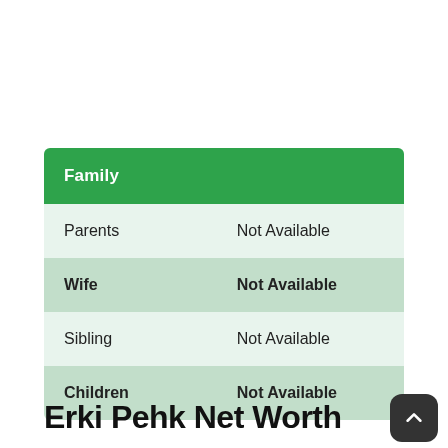| Family |  |
| --- | --- |
| Parents | Not Available |
| Wife | Not Available |
| Sibling | Not Available |
| Children | Not Available |
Erki Pehk Net Worth